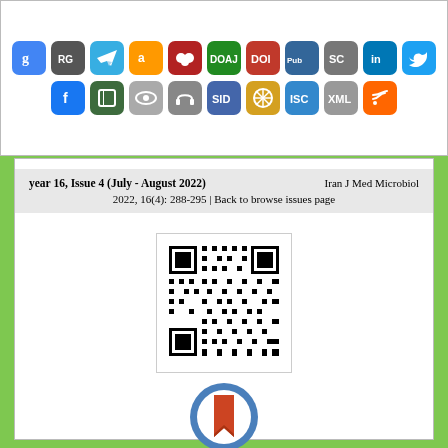[Figure (other): Row of social/academic platform icon buttons: Google Scholar, ResearchGate, Telegram, Amazon, Mendeley, DOAJ, DOI, PubMed, Semantic Scholar, LinkedIn, Twitter]
[Figure (other): Row of social/academic platform icon buttons: Facebook, some journal, eye icon, headphone icon, SID, snowflake/mandala, ISC, XML, RSS feed]
year 16, Issue 4 (July - August 2022)     Iran J Med Microbiol
2022, 16(4): 288-295 | Back to browse issues page
[Figure (other): QR code linking to article]
[Figure (other): CrossMark logo - circle with bookmark ribbon]
CrossMark
click for updates
10.30699/ijmm.16.4.288